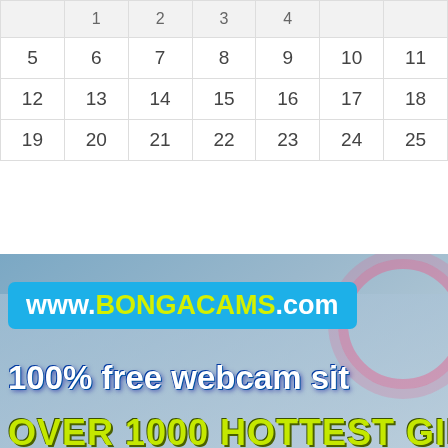|  | 1 | 2 | 3 | 4 |
| 5 | 6 | 7 | 8 | 9 | 10 | 11 |
| 12 | 13 | 14 | 15 | 16 | 17 | 18 |
| 19 | 20 | 21 | 22 | 23 | 24 | 25 |
[Figure (screenshot): Advertisement banner for www.BONGACAMS.com saying '100% free webcam site OVER 1000 HOTTEST GIRLS' with an Accept invitation button]
Free Web
registration room rooms sexy sign tamil teen video